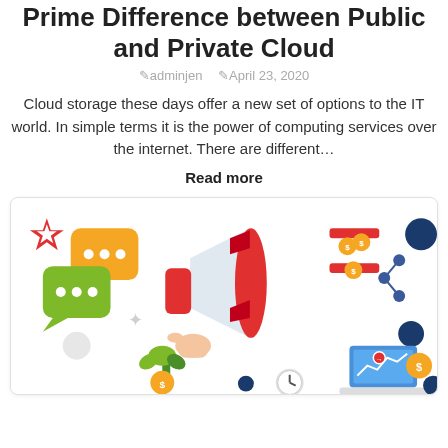Prime Difference between Public and Private Cloud
adminjen  April 23, 2020
Cloud storage these days offer a new set of options to the IT world. In simple terms it is the power of computing services over the internet. There are different…
Read more
[Figure (illustration): Marketing/business themed illustration with a megaphone, chat bubbles, money coins, plant, laptop, and share icons on a white background]